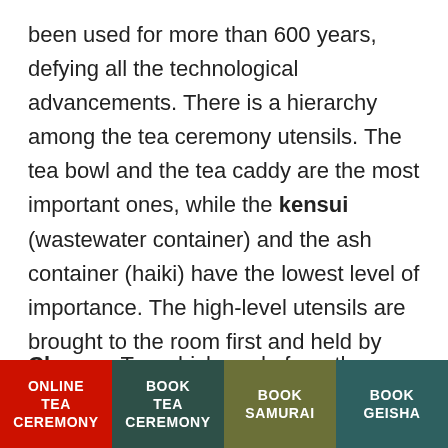been used for more than 600 years, defying all the technological advancements. There is a hierarchy among the tea ceremony utensils. The tea bowl and the tea caddy are the most important ones, while the kensui (wastewater container) and the ash container (haiki) have the lowest level of importance. The high-level utensils are brought to the room first and held by two hands all the time. Read more about the tea ceremony utensils.
Chasen: Tea whisk made from the single piece of bamboo
ONLINE TEA CEREMONY | BOOK TEA CEREMONY | BOOK SAMURAI | BOOK GEISHA